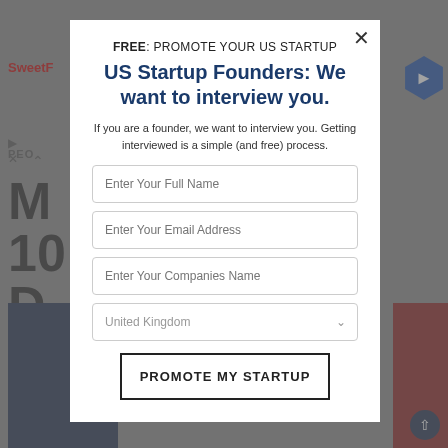[Figure (screenshot): Website background showing a news/media website with a logo, navigation elements, article heading starting with 'M', and partial article images]
FREE: PROMOTE YOUR US STARTUP
US Startup Founders: We want to interview you.
If you are a founder, we want to interview you. Getting interviewed is a simple (and free) process.
Enter Your Full Name
Enter Your Email Address
Enter Your Companies Name
United Kingdom
PROMOTE MY STARTUP